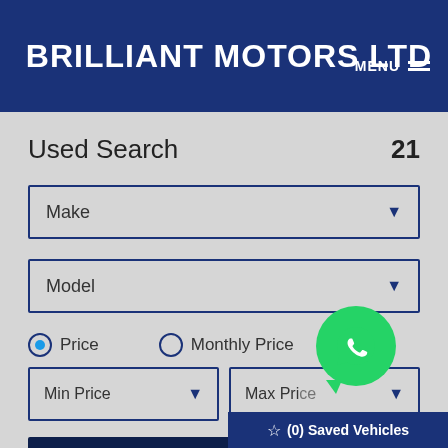BRILLIANT MOTORS LTD
MENU
Used Search 21
Make
Model
Price
Monthly Price
Min Price
Max Price
Search
(0) Saved Vehicles
[Figure (logo): WhatsApp green phone icon bubble]